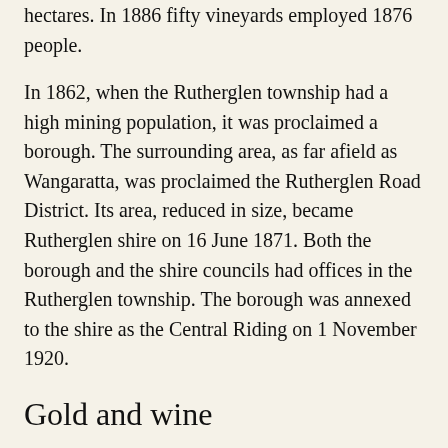hectares. In 1886 fifty vineyards employed 1876 people.
In 1862, when the Rutherglen township had a high mining population, it was proclaimed a borough. The surrounding area, as far afield as Wangaratta, was proclaimed the Rutherglen Road District. Its area, reduced in size, became Rutherglen shire on 16 June 1871. Both the borough and the shire councils had offices in the Rutherglen township. The borough was annexed to the shire as the Central Riding on 1 November 1920.
Gold and wine
As viticulture grew, deep lead gold mining also revived after dormancy in the 1870s. There was thus steady growth in both the borough and the shire. Between 1880 and 1900 the main mines were between Rutherglen and Chiltern, including North Prentice, Great Northern, Great Southern and Chiltern Valley. The mining activity absorbed timber,